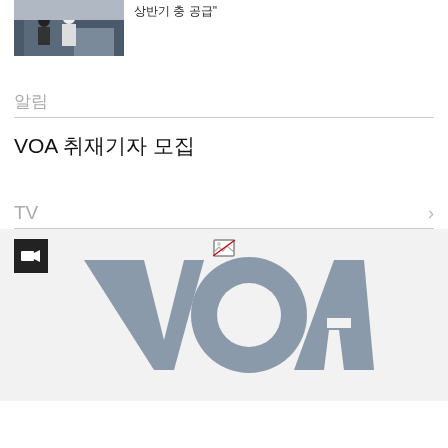[Figure (photo): Small thumbnail photo of two people in masks outside a building]
상반기 충 공급"
알림
VOA 취재기자 모집
TV
[Figure (screenshot): VOA TV video thumbnail showing the VOA logo on a light gray background with a video camera icon overlay]